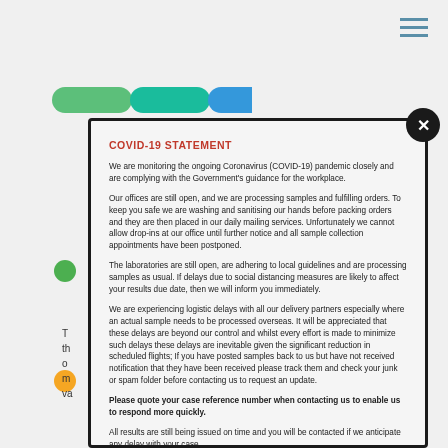[Figure (screenshot): Navigation hamburger menu icon with three horizontal lines in blue-grey color, top right corner]
[Figure (illustration): Colored pill shapes in green and teal, top left of background page]
COVID-19 STATEMENT
We are monitoring the ongoing Coronavirus (COVID-19) pandemic closely and are complying with the Government's guidance for the workplace.
Our offices are still open, and we are processing samples and fulfilling orders. To keep you safe we are washing and sanitising our hands before packing orders and they are then placed in our daily mailing services. Unfortunately we cannot allow drop-ins at our office until further notice and all sample collection appointments have been postponed.
The laboratories are still open, are adhering to local guidelines and are processing samples as usual. If delays due to social distancing measures are likely to affect your results due date, then we will inform you immediately.
We are experiencing logistic delays with all our delivery partners especially where an actual sample needs to be processed overseas. It will be appreciated that these delays are beyond our control and whilst every effort is made to minimize such delays these delays are inevitable given the significant reduction in scheduled flights; If you have posted samples back to us but have not received notification that they have been received please track them and check your junk or spam folder before contacting us to request an update.
Please quote your case reference number when contacting us to enable us to respond more quickly.
All results are still being issued on time and you will be contacted if we anticipate any delay with your case.